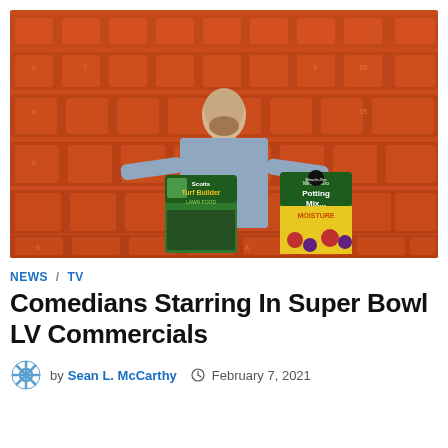[Figure (photo): A man standing in orange stadium seats, arms outstretched, holding a Scotts Turf Builder Lawn Food bag on the left and a Miracle-Gro Potting Mix bag on the right.]
NEWS / TV
Comedians Starring In Super Bowl LV Commercials
by Sean L. McCarthy   February 7, 2021